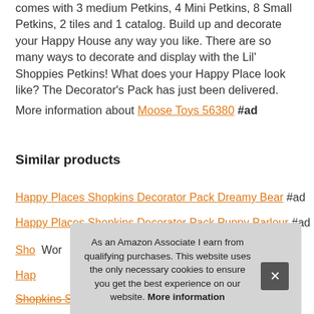comes with 3 medium Petkins, 4 Mini Petkins, 8 Small Petkins, 2 tiles and 1 catalog. Build up and decorate your Happy House any way you like. There are so many ways to decorate and display with the Lil' Shoppies Petkins! What does your Happy Place look like? The Decorator's Pack has just been delivered.
More information about Moose Toys 56380 #ad
Similar products
Happy Places Shopkins Decorator Pack Dreamy Bear #ad
Happy Places Shopkins Decorator Pack Puppy Parlour #ad
Shopkins... Wor...
Hap...
Shopkins Small mart Shopping Cart, Pink #ad
As an Amazon Associate I earn from qualifying purchases. This website uses the only necessary cookies to ensure you get the best experience on our website. More information